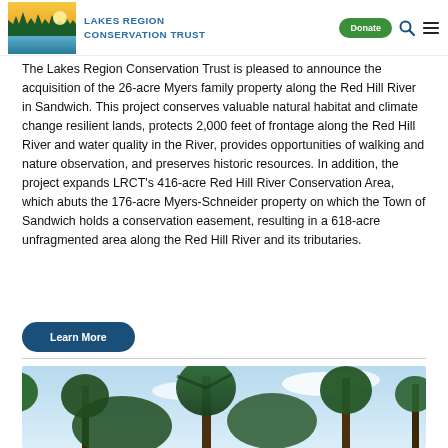Lakes Region Conservation Trust — Donate
The Lakes Region Conservation Trust is pleased to announce the acquisition of the 26-acre Myers family property along the Red Hill River in Sandwich. This project conserves valuable natural habitat and climate change resilient lands, protects 2,000 feet of frontage along the Red Hill River and water quality in the River, provides opportunities of walking and nature observation, and preserves historic resources. In addition, the project expands LRCT's 416-acre Red Hill River Conservation Area, which abuts the 176-acre Myers-Schneider property on which the Town of Sandwich holds a conservation easement, resulting in a 618-acre unfragmented area along the Red Hill River and its tributaries.
Learn More
[Figure (photo): Forest scene with tall evergreen trees against a blue sky with white clouds]